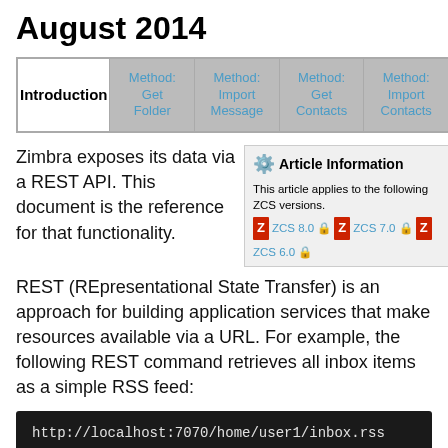August 2014
| Introduction | Method: Get Folder | Method: Import Message | Method: Get Contacts | Method: Import Contacts |
| --- | --- | --- | --- | --- |
Zimbra exposes its data via a REST API. This document is the reference for that functionality.
[Figure (infographic): Article Information box showing ZCS 8.0, ZCS 7.0, and ZCS 6.0 version badges with lock icons]
REST (REpresentational State Transfer) is an approach for building application services that make resources available via a URL. For example, the following REST command retrieves all inbox items as a simple RSS feed:
Learn more about REST at the Wikipedia article